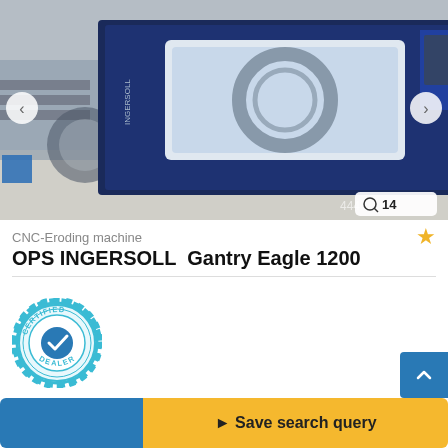[Figure (photo): Photo of an OPS INGERSOLL Gantry Eagle 1200 CNC-Eroding machine in an industrial workshop setting. Large blue rectangular frame machine with CNC control panel on a yellow pedestal stand. Navigation arrows on left and right sides of the image. Image counter badge showing magnifier icon and '14' in bottom right corner.]
CNC-Eroding machine
OPS INGERSOLL  Gantry Eagle 1200
[Figure (logo): Certified Dealer badge: circular gear-shaped border in teal/blue with 'CERTIFIED' text at top and 'DEALER' text at bottom. Blue checkmark in the center circle.]
€ Price info
◄ Save search query